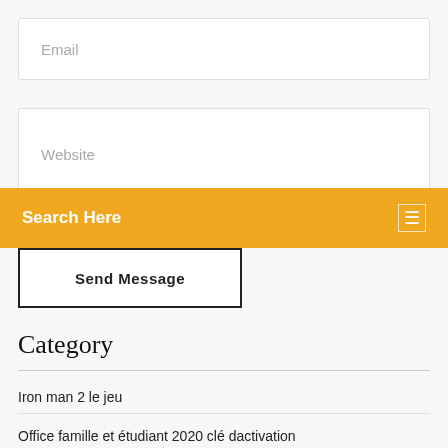Email
Website
Search Here
Send Message
Category
Iron man 2 le jeu
Office famille et étudiant 2020 clé dactivation